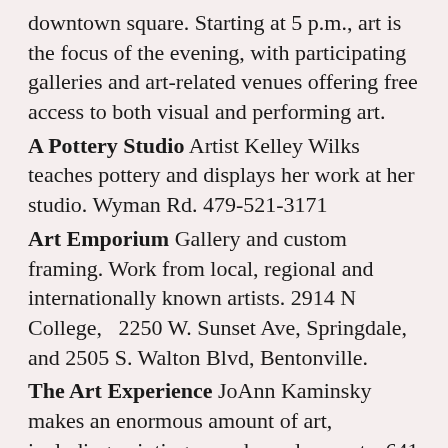downtown square. Starting at 5 p.m., art is the focus of the evening, with participating galleries and art-related venues offering free access to both visual and performing art.
A Pottery Studio Artist Kelley Wilks teaches pottery and displays her work at her studio. Wyman Rd. 479-521-3171
Art Emporium Gallery and custom framing. Work from local, regional and internationally known artists. 2914 N College,  2250 W. Sunset Ave, Springdale, and 2505 S. Walton Blvd, Bentonville.
The Art Experience JoAnn Kaminsky makes an enormous amount of art, including paintings, masks and puppets. 641 W. Martin Luther King Blvd. 479-442-0557
Cindy Arsaga Studio/Gallery Cindy Arsaga's encaustic paintings in wax .Unusual and visually